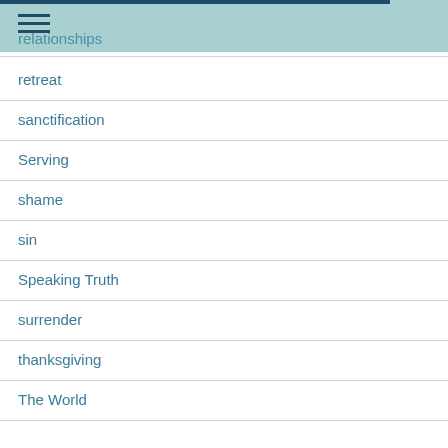relationships
retreat
sanctification
Serving
shame
sin
Speaking Truth
surrender
thanksgiving
The World